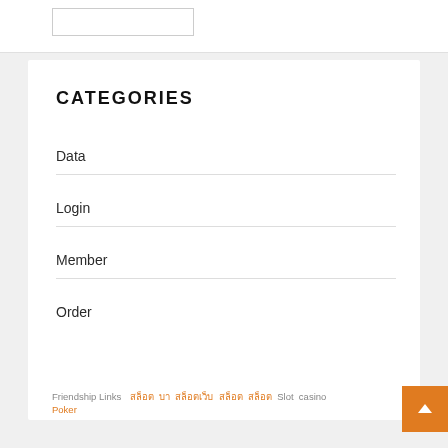CATEGORIES
Data
Login
Member
Order
Friendship Links  สล็อต  บา  สล็อตเว็บ  สล็อต  สล็อต  Slot  casino  Poker